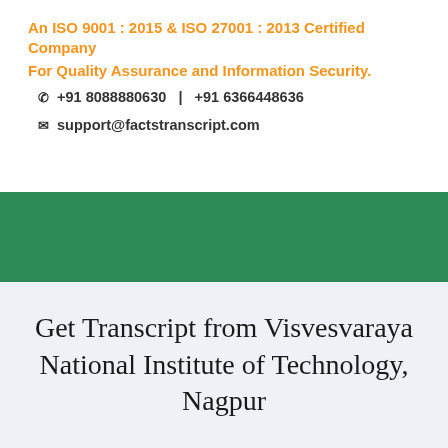An ISO 9001 : 2015 & ISO 27001 : 2013 Certified Company
For Quality Assurance and Information Security.
☎ +91 8088880630   |   +91 6366448636
✉ support@factstranscript.com
Get Transcript from Visvesvaraya National Institute of Technology, Nagpur